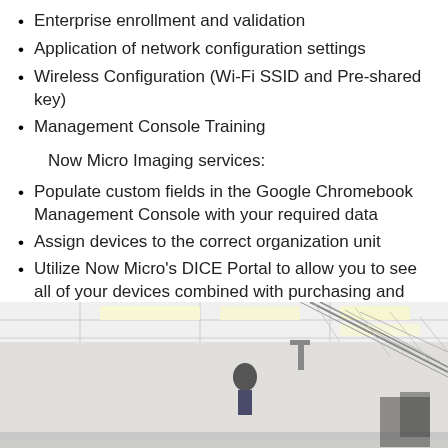Enterprise enrollment and validation
Application of network configuration settings
Wireless Configuration (Wi-Fi SSID and Pre-shared key)
Management Console Training
Now Micro Imaging services:
Populate custom fields in the Google Chromebook Management Console with your required data
Assign devices to the correct organization unit
Utilize Now Micro's DICE Portal to allow you to see all of your devices combined with purchasing and hardware data in an easy to use, exportable format
[Figure (photo): Interior warehouse or office space with a drop ceiling with fluorescent lights, cable trays along the wall, and a person visible in the background]